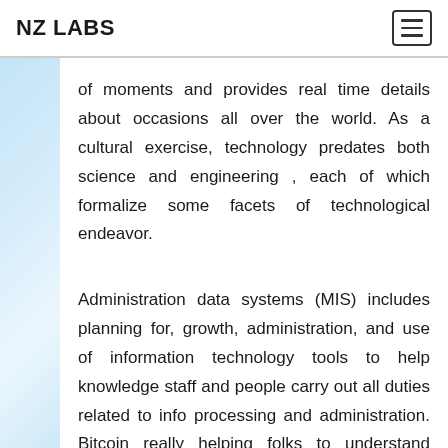NZ LABS
of moments and provides real time details about occasions all over the world. As a cultural exercise, technology predates both science and engineering , each of which formalize some facets of technological endeavor.
Administration data systems (MIS) includes planning for, growth, administration, and use of information technology tools to help knowledge staff and people carry out all duties related to info processing and administration. Bitcoin really helping folks to understand blockchain technology.
While trendy technologies did help some individuals lose their jobs, it truly gave start to a completely new